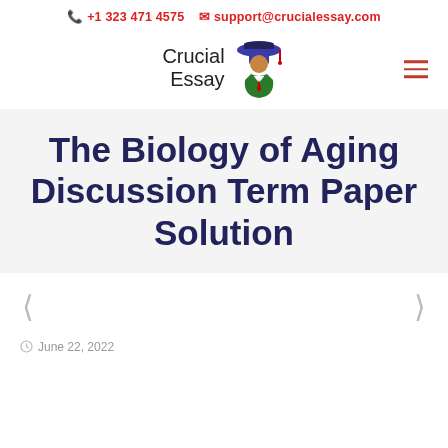📞 +1 323 471 4575   ✉ support@crucialessay.com
[Figure (logo): Crucial Essay logo with graduation figure and text]
The Biology of Aging Discussion Term Paper Solution
< >
June 22, 2022